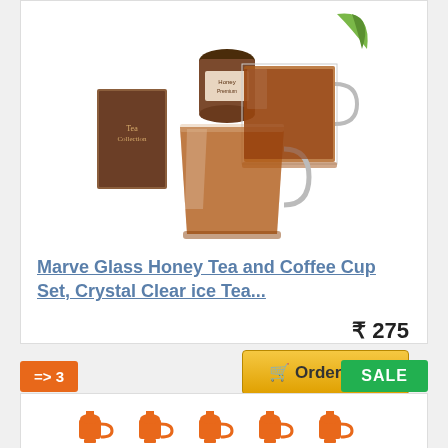[Figure (photo): Product photo of glass tea/coffee cups with honey pot and box on white background]
Marve Glass Honey Tea and Coffee Cup Set, Crystal Clear ice Tea...
₹ 275
Order Now
=> 3
SALE
[Figure (illustration): Row of orange teapot/kettle icons at bottom of page]